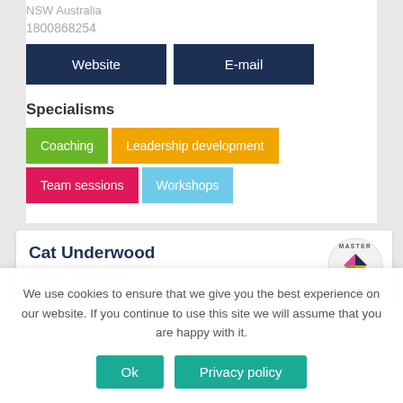NSW Australia
1800868254
Website
E-mail
Specialisms
Coaching
Leadership development
Team sessions
Workshops
Cat Underwood
Ayom Fooda Ltd
[Figure (logo): Master badge/logo with colorful star shape]
We use cookies to ensure that we give you the best experience on our website. If you continue to use this site we will assume that you are happy with it.
Ok
Privacy policy